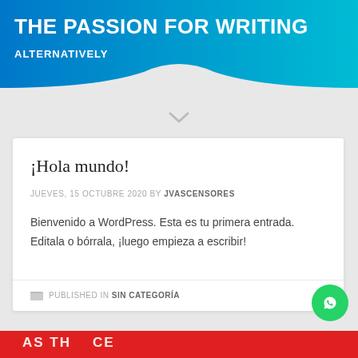THE PASSION FOR WRITING
ALTERNATIVELY
¡Hola mundo!
JUEVES, 15 OCTUBRE 2020 BY JVASCENSORES
Bienvenido a WordPress. Esta es tu primera entrada. Editala o bórrala, ¡luego empieza a escribir!
PUBLISHED IN SIN CATEGORÍA